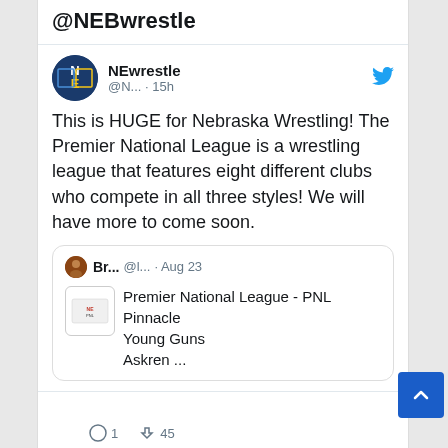@NEBwrestle
NEwrestle @N... · 15h
This is HUGE for Nebraska Wrestling! The Premier National League is a wrestling league that features eight different clubs who compete in all three styles! We will have more to come soon.
[Quoted tweet] Br... @l... · Aug 23
Premier National League - PNL
Pinnacle
Young Guns
Askren ...
1  45